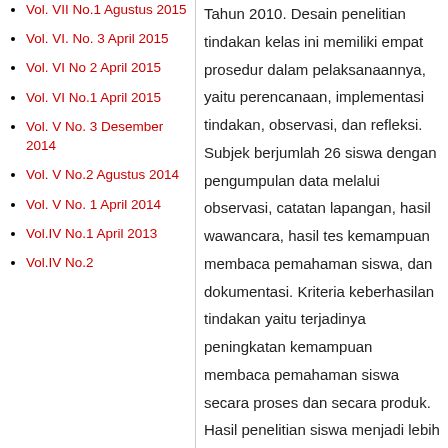Vol. VII No.1 Agustus 2015
Vol. VI. No. 3 April 2015
Vol. VI No 2 April 2015
Vol. VI No.1 April 2015
Vol. V No. 3 Desember 2014
Vol. V No.2 Agustus 2014
Vol. V No. 1 April 2014
Vol.IV No.1 April 2013
Vol.IV No.2
Tahun 2010. Desain penelitian tindakan kelas ini memiliki empat prosedur dalam pelaksanaannya, yaitu perencanaan, implementasi tindakan, observasi, dan refleksi. Subjek berjumlah 26 siswa dengan pengumpulan data melalui observasi, catatan lapangan, hasil wawancara, hasil tes kemampuan membaca pemahaman siswa, dan dokumentasi. Kriteria keberhasilan tindakan yaitu terjadinya peningkatan kemampuan membaca pemahaman siswa secara proses dan secara produk. Hasil penelitian siswa menjadi lebih aktif dan antusias dalam mengikuti pembelajaran membaca pemahaman. Siswa menujukkan sikap, minat, dan semangat yang tinggi. Selain itu, ada peningkatan kemampuan membaca pemahaman siswa yang ditunjukkan melalui hasil tes membaca pemahaman.. Pada kegiatan siklus I, siswa yang mencapai KKM sebanyak 17 orang atau sebesar 60,71% dari jumlah siswa. Pada